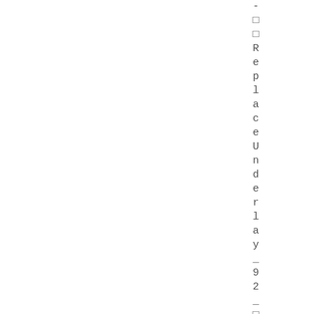- □ □ R e p l a c e U n d e r l a y _ 9 2 _ □ □ -